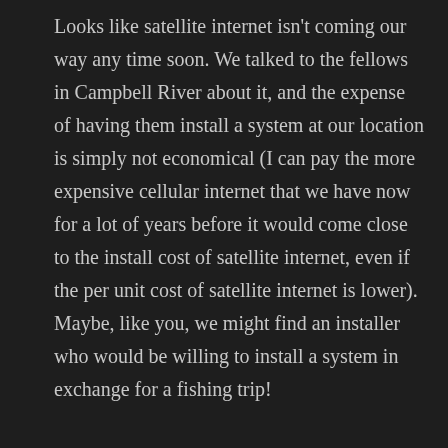Looks like satellite internet isn't coming our way any time soon. We talked to the fellows in Campbell River about it, and the expense of having them install a system at our location is simply not economical (I can pay the more expensive cellular internet that we have now for a lot of years before it would come close to the install cost of satellite internet, even if the per unit cost of satellite internet is lower). Maybe, like you, we might find an installer who would be willing to install a system in exchange for a fishing trip!